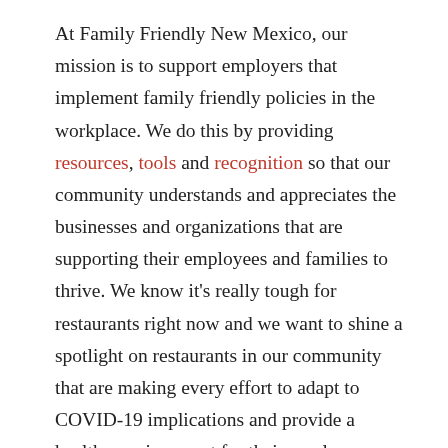At Family Friendly New Mexico, our mission is to support employers that implement family friendly policies in the workplace. We do this by providing resources, tools and recognition so that our community understands and appreciates the businesses and organizations that are supporting their employees and families to thrive. We know it's really tough for restaurants right now and we want to shine a spotlight on restaurants in our community that are making every effort to adapt to COVID-19 implications and provide a healthy environment for their employees.
When the first of the public health orders were issued in March, 2020, Dion's (a Platinum level Family Friendly Business awardee) worked diligently to keep their employees on staff while adapting to the first in-door